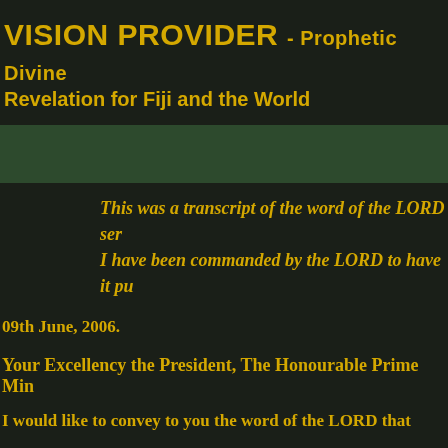VISION PROVIDER - Prophetic Divine Revelation for Fiji and the World
This was a transcript of the word of the LORD sen... I have been commanded by the LORD to have it pu...
09th June, 2006.
Your Excellency the President, The Honourable Prime Min...
I would like to convey to you the word of the LORD that...